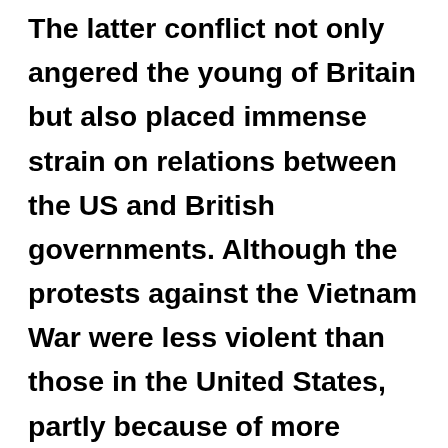The latter conflict not only angered the young of Britain but also placed immense strain on relations between the US and British governments. Although the protests against the Vietnam War were less violent than those in the United States, partly because of more moderate policing in Britain, there were major demonstrations all over the country; the one which took place in London's